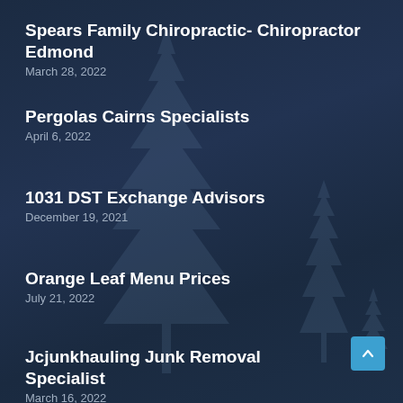Spears Family Chiropractic- Chiropractor Edmond
March 28, 2022
Pergolas Cairns Specialists
April 6, 2022
1031 DST Exchange Advisors
December 19, 2021
Orange Leaf Menu Prices
July 21, 2022
Jcjunkhauling Junk Removal Specialist
March 16, 2022